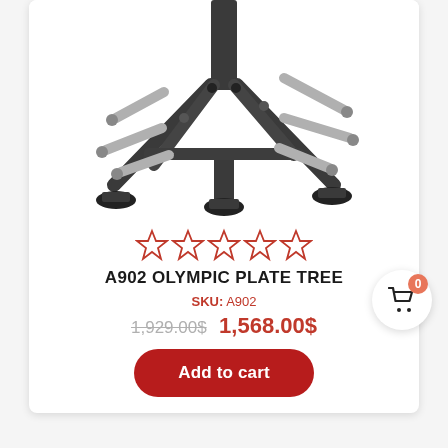[Figure (photo): Close-up photo of an A902 Olympic Plate Tree weight storage rack with metal frame, chrome storage pegs, and rubber feet on a white background.]
[Figure (other): Five empty star rating icons in red/pink outline with no fill, indicating 0 out of 5 stars rating.]
A902 OLYMPIC PLATE TREE
SKU: A902
1,929.00$ 1,568.00$
Add to cart